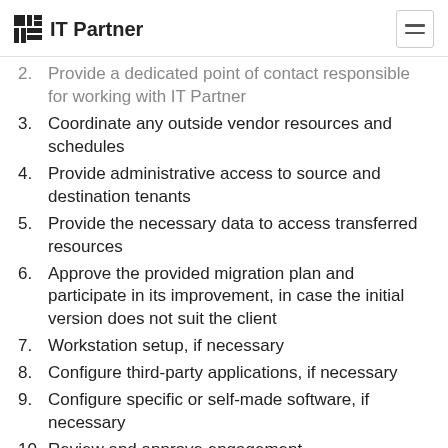IT Partner
2. Provide a dedicated point of contact responsible for working with IT Partner
3. Coordinate any outside vendor resources and schedules
4. Provide administrative access to source and destination tenants
5. Provide the necessary data to access transferred resources
6. Approve the provided migration plan and participate in its improvement, in case the initial version does not suit the client
7. Workstation setup, if necessary
8. Configure third-party applications, if necessary
9. Configure specific or self-made software, if necessary
10. Review and approve engagement